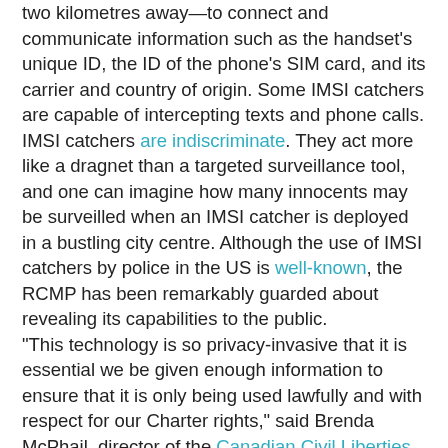two kilometres away—to connect and communicate information such as the handset's unique ID, the ID of the phone's SIM card, and its carrier and country of origin. Some IMSI catchers are capable of intercepting texts and phone calls.
IMSI catchers are indiscriminate. They act more like a dragnet than a targeted surveillance tool, and one can imagine how many innocents may be surveilled when an IMSI catcher is deployed in a bustling city centre. Although the use of IMSI catchers by police in the US is well-known, the RCMP has been remarkably guarded about revealing its capabilities to the public.
"This technology is so privacy-invasive that it is essential we be given enough information to ensure that it is only being used lawfully and with respect for our Charter rights," said Brenda McPhail, director of the Canadian Civil Liberties Association's surveillance project. "Only then can we have a real debate about whether the benefits to public safety are at all proportionate to the profound privacy risks presented by this technology."
The key thing to remember here is that not only does the